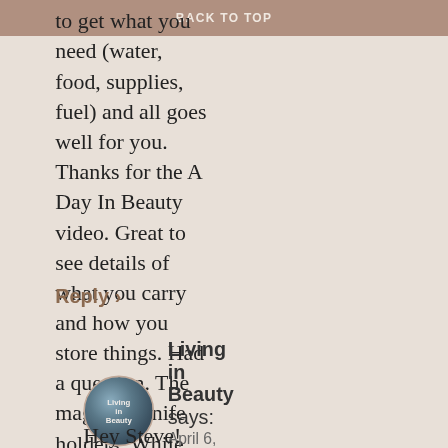BACK TO TOP
to get what you need (water, food, supplies, fuel) and all goes well for you. Thanks for the A Day In Beauty video. Great to see details of what you carry and how you store things. Had a question. The magnetic knife holders. While traveling and bumping down the road, do the knives stay on it, or do you need to remove them for travel? I assume you pack them in a drawer or something?
Reply >
Living in Beauty says:
April 6, 2020 at 9:31 am
Hey Steve! Sorry it took me so long to respond. Thanks for the good review 😉 Yes, we're so glad we listened to the universe and stayed stateside and slowed our travels down considerably rather than just quit. We always have the year-break in